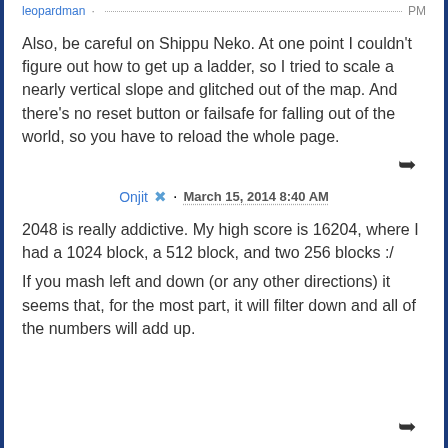leopardman · [dotted line] PM
Also, be careful on Shippu Neko. At one point I couldn't figure out how to get up a ladder, so I tried to scale a nearly vertical slope and glitched out of the map. And there's no reset button or failsafe for falling out of the world, so you have to reload the whole page.
Onjit 🔧 · March 15, 2014 8:40 AM
2048 is really addictive. My high score is 16204, where I had a 1024 block, a 512 block, and two 256 blocks :/
If you mash left and down (or any other directions) it seems that, for the most part, it will filter down and all of the numbers will add up.